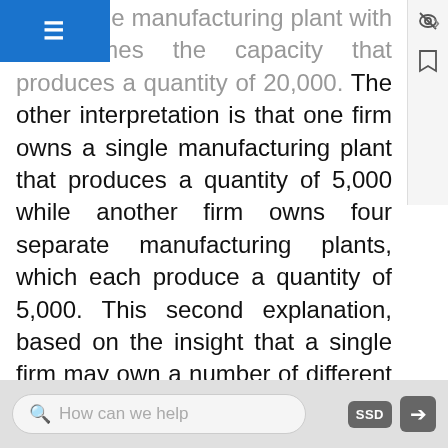ts a single manufacturing plant with four times the capacity that produces a quantity of 20,000. The other interpretation is that one firm owns a single manufacturing plant that produces a quantity of 5,000 while another firm owns four separate manufacturing plants, which each produce a quantity of 5,000. This second explanation, based on the insight that a single firm may own a number of different manufacturing plants, is especially useful in explaining why the long-run average cost curve often has a large flat segment—and thus why a seemingly smaller firm may be able to compete quite well with a larger firm. At some point, however, the task of coordinating and managing many different plants raises the cost of production sharply, and the long-run average cost curve slopes up as a result.
How can we help